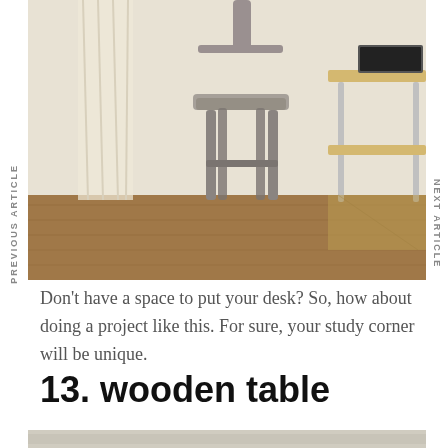[Figure (photo): Photo of an industrial-style metal bar stool with wooden seat near a wall-mounted fold-down wooden desk with a laptop, on hardwood flooring with white walls and curtain.]
Don't have a space to put your desk? So, how about doing a project like this. For sure, your study corner will be unique.
13. wooden table
[Figure (photo): Partial view of another image at the bottom of the page, showing a light-colored surface.]